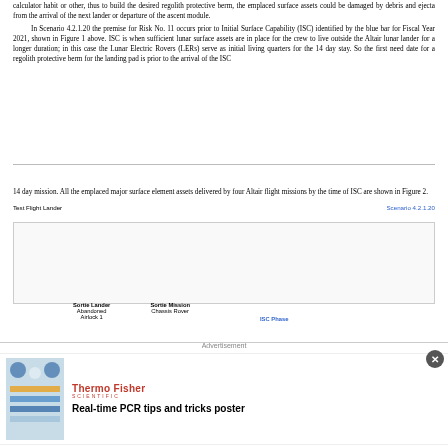calculator habit or other, thus to build the desired regolith protective berm, the emplaced surface assets could be damaged by debris and ejecta from the arrival of the next lander or departure of the ascent module.
In Scenario 4.2.1.20 the premise for Risk No. 11 occurs prior to Initial Surface Capability (ISC) identified by the blue bar for Fiscal Year 2021, shown in Figure 1 above. ISC is when sufficient lunar surface assets are in place for the crew to live outside the Altair lunar lander for a longer duration; in this case the Lunar Electric Rovers (LERs) serve as initial living quarters for the 14 day stay. So the first need date for a regolith protective berm for the landing pad is prior to the arrival of the ISC
14 day mission. All the emplaced major surface element assets delivered by four Altair flight missions by the time of ISC are shown in Figure 2.
[Figure (other): Diagram showing Test Flight Lander and Scenario 4.2.1.20 layout with Sortie Lander, Abandoned Airlock 1, Sortie Mission Chassis Rover, and ISC Phase labels]
Test Flight Lander    Scenario 4.2.1.20
[Figure (infographic): Advertisement: Thermo Fisher Scientific - Real-time PCR tips and tricks poster]